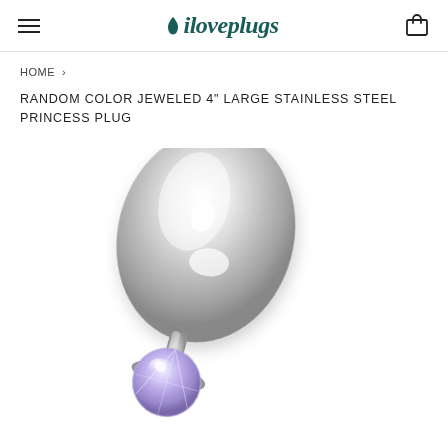iloveplugs
HOME
RANDOM COLOR JEWELED 4" LARGE STAINLESS STEEL PRINCESS PLUG
[Figure (photo): A large stainless steel plug with a shiny silver metallic body and a light purple/lavender faceted jewel base, photographed on a white background.]